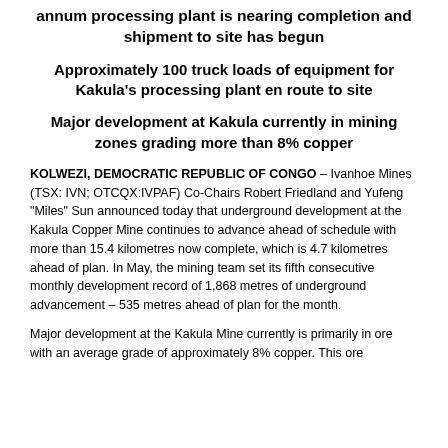annum processing plant is nearing completion and shipment to site has begun
Approximately 100 truck loads of equipment for Kakula's processing plant en route to site
Major development at Kakula currently in mining zones grading more than 8% copper
KOLWEZI, DEMOCRATIC REPUBLIC OF CONGO – Ivanhoe Mines (TSX: IVN; OTCQX:IVPAF) Co-Chairs Robert Friedland and Yufeng "Miles" Sun announced today that underground development at the Kakula Copper Mine continues to advance ahead of schedule with more than 15.4 kilometres now complete, which is 4.7 kilometres ahead of plan. In May, the mining team set its fifth consecutive monthly development record of 1,868 metres of underground advancement – 535 metres ahead of plan for the month.
Major development at the Kakula Mine currently is primarily in ore with an average grade of approximately 8% copper. This ore